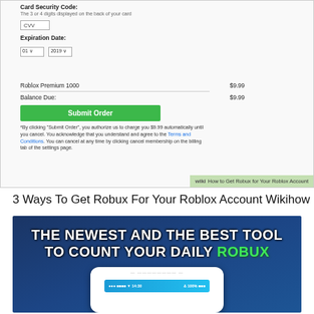[Figure (screenshot): Roblox Premium checkout form showing Card Security Code field with CVV input, Expiration Date dropdowns (01, 2019), order summary with Roblox Premium 1000 at $9.99 and Balance Due $9.99, green Submit Order button, disclaimer text with Terms and Conditions link, and WikiHow badge]
3 Ways To Get Robux For Your Roblox Account Wikihow
[Figure (screenshot): Banner image with dark blue background and bold white text reading 'THE NEWEST AND THE BEST TOOL TO COUNT YOUR DAILY ROBUX' with ROBUX in green, and a phone mockup showing a Roblox app interface below]